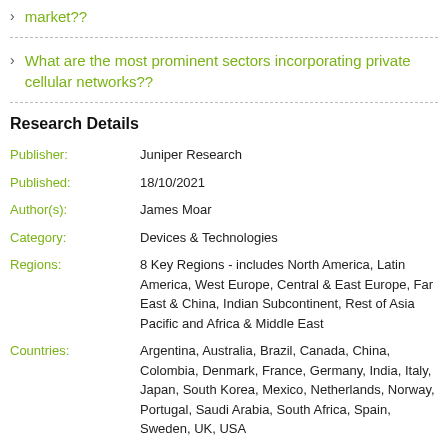market??
What are the most prominent sectors incorporating private cellular networks??
Research Details
| Field | Value |
| --- | --- |
| Publisher: | Juniper Research |
| Published: | 18/10/2021 |
| Author(s): | James Moar |
| Category: | Devices & Technologies |
| Regions: | 8 Key Regions - includes North America, Latin America, West Europe, Central & East Europe, Far East & China, Indian Subcontinent, Rest of Asia Pacific and Africa & Middle East |
| Countries: | Argentina, Australia, Brazil, Canada, China, Colombia, Denmark, France, Germany, India, Italy, Japan, South Korea, Mexico, Netherlands, Norway, Portugal, Saudi Arabia, South Africa, Spain, Sweden, UK, USA |